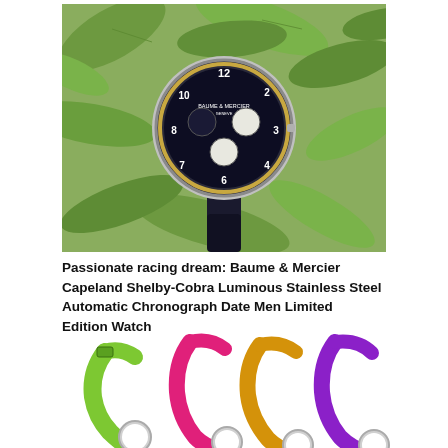[Figure (photo): A luxury chronograph wristwatch with dark navy/black dial, Arabic numerals, three sub-dials, and a black leather strap, photographed among green tropical leaves.]
Passionate racing dream: Baume & Mercier Capeland Shelby-Cobra Luminous Stainless Steel Automatic Chronograph Date Men Limited Edition Watch
[Figure (photo): Four colorful watches with brightly colored rubber/silicone straps in green, pink/magenta, orange/yellow, and purple, with silver cases, displayed artistically with the straps twisting and splashing.]